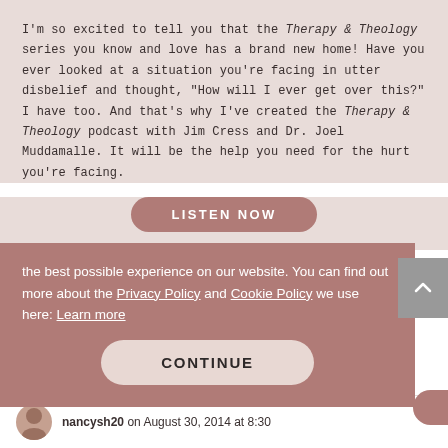I'm so excited to tell you that the Therapy & Theology series you know and love has a brand new home! Have you ever looked at a situation you're facing in utter disbelief and thought, "How will I ever get over this?" I have too. And that's why I've created the Therapy & Theology podcast with Jim Cress and Dr. Joel Muddamalle. It will be the help you need for the hurt you're facing.
LISTEN NOW
[Figure (logo): Lysa TerKeurst logo with leaf/botanical decorative element above the text]
the best possible experience on our website. You can find out more about the Privacy Policy and Cookie Policy we use here: Learn more
CONTINUE
nancysh20 on August 30, 2014 at 8:30